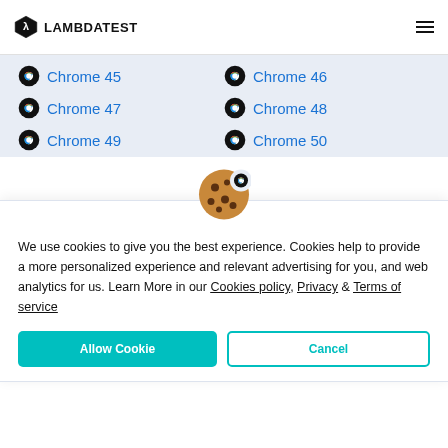LAMBDATEST
Chrome 45
Chrome 46
Chrome 47
Chrome 48
Chrome 49
Chrome 50
[Figure (illustration): Cookie emoji overlapping the cookie consent popup banner]
We use cookies to give you the best experience. Cookies help to provide a more personalized experience and relevant advertising for you, and web analytics for us. Learn More in our Cookies policy, Privacy & Terms of service
Allow Cookie | Cancel